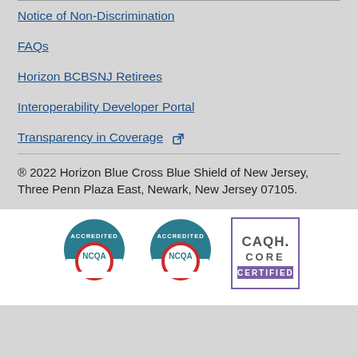Notice of Non-Discrimination
FAQs
Horizon BCBSNJ Retirees
Interoperability Developer Portal
Transparency in Coverage
® 2022 Horizon Blue Cross Blue Shield of New Jersey, Three Penn Plaza East, Newark, New Jersey 07105.
[Figure (logo): NCQA Accredited badge (teal/blue semicircle with ACCREDITED text and NCQA in center)]
[Figure (logo): NCQA Accredited badge (second instance, teal/blue semicircle with ACCREDITED text and NCQA in center)]
[Figure (logo): CAQH CORE CERTIFIED badge (purple border rectangle with CAQH. CORE CERTIFIED text)]